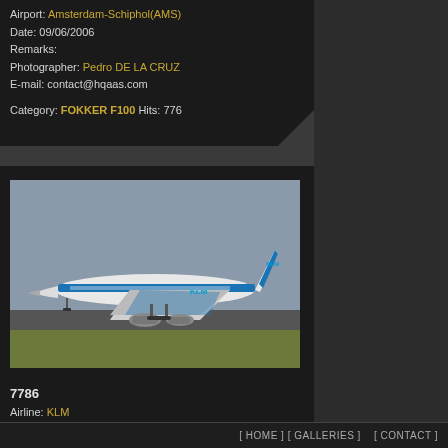Airport: Amsterdam-Schiphol(AMS)
Date: 09/06/2006
Remarks:
Photographer: Pedro DE LA CRUZ
E-mail: contact@hqaas.com

Category: FOKKER F100 Hits: 776
[Figure (photo): KLM Boeing 747-406 aircraft with registration PH-BFB on runway at Amsterdam Schiphol airport, blue KLM livery, taxiing or taking off]
7786
Airline: KLM
Aircraft type: BOEING 747-406
c/n: 24000
Registration: PH-BFB
[ HOME ] [ GALLERIES ]    [ CONTACT ]